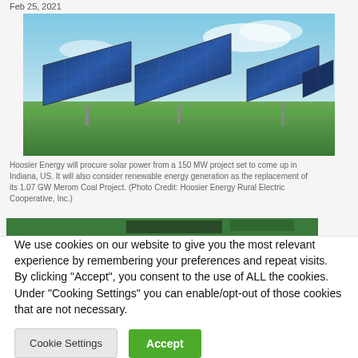Feb 25, 2021
[Figure (photo): Solar panels in a field under a blue sky, rows of photovoltaic panels in green grass]
Hoosier Energy will procure solar power from a 150 MW project set to come up in Indiana, US. It will also consider renewable energy generation as the replacement of its 1.07 GW Merom Coal Project. (Photo Credit: Hoosier Energy Rural Electric Cooperative, Inc.)
[Figure (photo): Partially visible second image, appears to show aerial/overhead view of green landscape]
We use cookies on our website to give you the most relevant experience by remembering your preferences and repeat visits. By clicking “Accept”, you consent to the use of ALL the cookies. Under “Cooking Settings” you can enable/opt-out of those cookies that are not necessary.
Cookie Settings
Accept